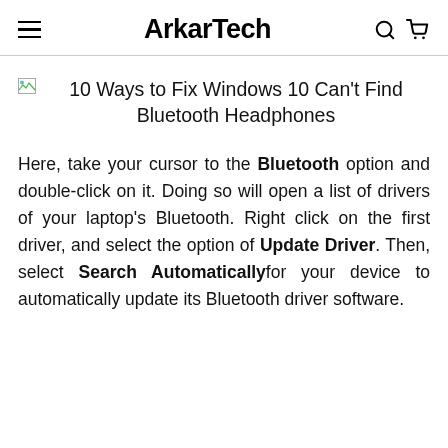ArkarTech
[Figure (illustration): Broken image placeholder icon for article thumbnail]
10 Ways to Fix Windows 10 Can't Find Bluetooth Headphones
Here, take your cursor to the Bluetooth option and double-click on it. Doing so will open a list of drivers of your laptop's Bluetooth. Right click on the first driver, and select the option of Update Driver. Then, select Search Automaticallyfor your device to automatically update its Bluetooth driver software.